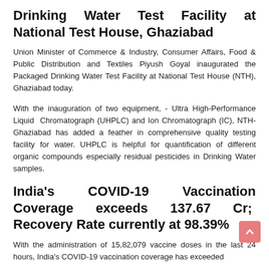Drinking Water Test Facility at National Test House, Ghaziabad
Union Minister of Commerce & Industry, Consumer Affairs, Food & Public Distribution and Textiles Piyush Goyal inaugurated the Packaged Drinking Water Test Facility at National Test House (NTH), Ghaziabad today.
With the inauguration of two equipment, - Ultra High-Performance Liquid Chromatograph (UHPLC) and Ion Chromatograph (IC), NTH-Ghaziabad has added a feather in comprehensive quality testing facility for water. UHPLC is helpful for quantification of different organic compounds especially residual pesticides in Drinking Water samples.
India's COVID-19 Vaccination Coverage exceeds 137.67 Cr; Recovery Rate currently at 98.39%
With the administration of 15,82,079 vaccine doses in the last 24 hours, India's COVID-19 vaccination coverage has exceeded